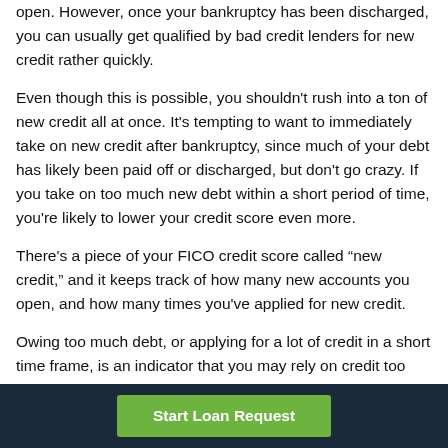open. However, once your bankruptcy has been discharged, you can usually get qualified by bad credit lenders for new credit rather quickly.
Even though this is possible, you shouldn't rush into a ton of new credit all at once. It's tempting to want to immediately take on new credit after bankruptcy, since much of your debt has likely been paid off or discharged, but don't go crazy. If you take on too much new debt within a short period of time, you're likely to lower your credit score even more.
There's a piece of your FICO credit score called “new credit,” and it keeps track of how many new accounts you open, and how many times you've applied for new credit.
Owing too much debt, or applying for a lot of credit in a short time frame, is an indicator that you may rely on credit too much, and might be overextending yourself. After bankruptcy,
Start Loan Request